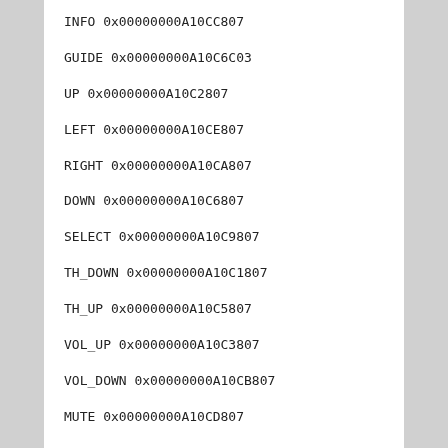INFO 0x00000000A10CC807
GUIDE 0x00000000A10C6C03
UP 0x00000000A10C2807
LEFT 0x00000000A10CE807
RIGHT 0x00000000A10CA807
DOWN 0x00000000A10C6807
SELECT 0x00000000A10C9807
TH_DOWN 0x00000000A10C1807
TH_UP 0x00000000A10C5807
VOL_UP 0x00000000A10C3807
VOL_DOWN 0x00000000A10CB807
MUTE 0x00000000A10CD807
RECORD 0x00000000A10C040B